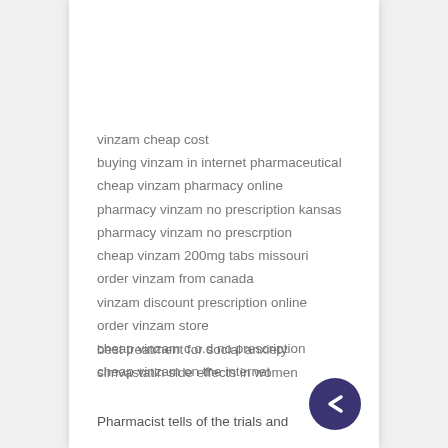vinzam cheap cost
buying vinzam in internet pharmaceutical
cheap vinzam pharmacy online
pharmacy vinzam no prescription kansas
pharmacy vinzam no prescrption
cheap vinzam 200mg tabs missouri
order vinzam from canada
vinzam discount prescription online
order vinzam store
cheap vinzam c.o.d no prescription
cheap vinzam on the internet
best treatment for social anxiety
simvastatin side effects in women
Pharmacist tells of the trials and